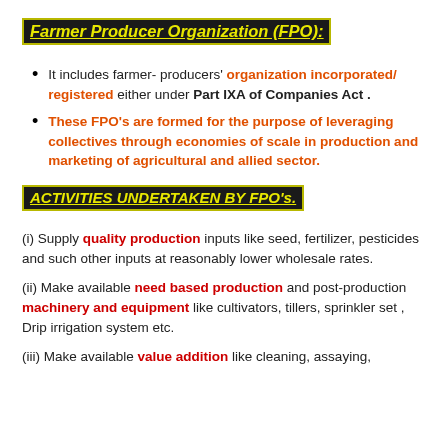Farmer Producer Organization (FPO):
It includes farmer- producers' organization incorporated/ registered either under Part IXA of Companies Act .
These FPO's are formed for the purpose of leveraging collectives through economies of scale in production and marketing of agricultural and allied sector.
ACTIVITIES UNDERTAKEN BY FPO's.
(i) Supply quality production inputs like seed, fertilizer, pesticides and such other inputs at reasonably lower wholesale rates.
(ii) Make available need based production and post-production machinery and equipment like cultivators, tillers, sprinkler set , Drip irrigation system etc.
(iii) Make available value addition like cleaning, assaying,